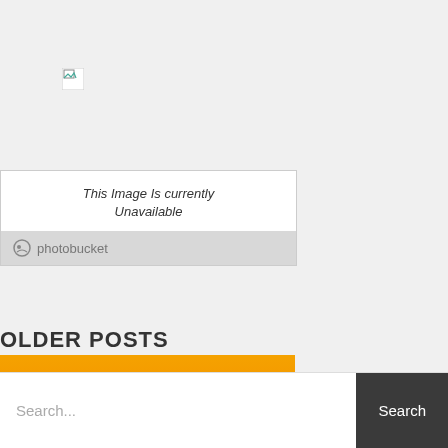[Figure (screenshot): Broken image icon placeholder in top left area]
[Figure (screenshot): Photobucket image unavailable placeholder showing 'This Image Is currently Unavailable' with Photobucket branding bar]
[Figure (logo): 6 FEET logo with orange gradient background, white '6' numeral and white 'FEET' text on orange circle]
OLDER POSTS
Search...
Search